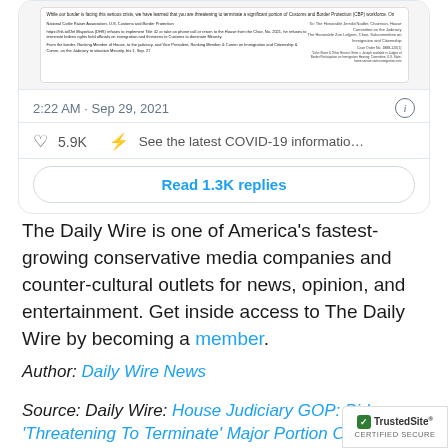[Figure (screenshot): Screenshot of a tweet card showing a document image, timestamp '2:22 AM · Sep 29, 2021', 5.9K likes, COVID-19 information link, and 'Read 1.3K replies' button]
The Daily Wire is one of America's fastest-growing conservative media companies and counter-cultural outlets for news, opinion, and entertainment. Get inside access to The Daily Wire by becoming a member.
Author: Daily Wire News
Source: Daily Wire: House Judiciary GOP: Biden 'Threatening To Terminate' Major Portion Of I...